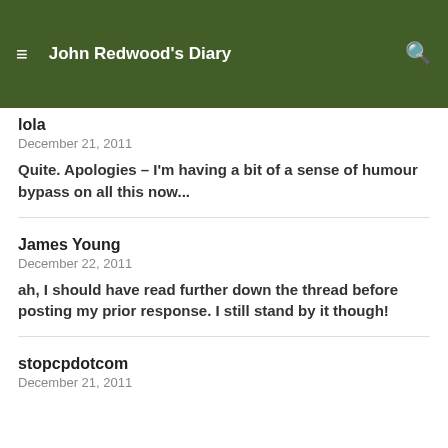John Redwood's Diary
lola
December 21, 2011
Quite. Apologies – I'm having a bit of a sense of humour bypass on all this now...
James Young
December 22, 2011
ah, I should have read further down the thread before posting my prior response. I still stand by it though!
stopcpdotcom
December 21, 2011